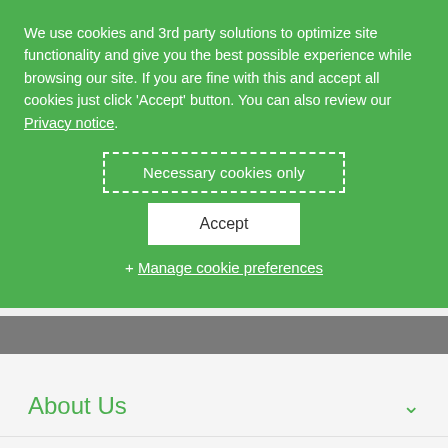We use cookies and 3rd party solutions to optimize site functionality and give you the best possible experience while browsing our site. If you are fine with this and accept all cookies just click 'Accept' button. You can also review our Privacy notice.
Necessary cookies only
Accept
+ Manage cookie preferences
About Us
Pulp
Board and paper